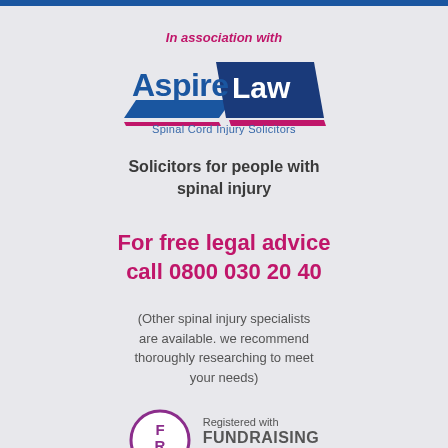In association with
[Figure (logo): Aspire Law logo with blue parallelogram shapes and text 'Aspire Law', subtitle 'Spinal Cord Injury Solicitors']
Solicitors for people with spinal injury
For free legal advice call 0800 030 20 40
(Other spinal injury specialists are available. we recommend thoroughly researching to meet your needs)
[Figure (logo): Fundraising Regulator FR badge logo with text 'Registered with FUNDRAISING REGULATOR']